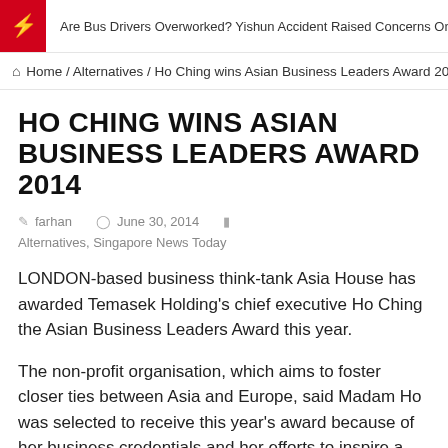Are Bus Drivers Overworked? Yishun Accident Raised Concerns On Welfare O
⌂ Home / Alternatives / Ho Ching wins Asian Business Leaders Award 2014
HO CHING WINS ASIAN BUSINESS LEADERS AWARD 2014
farhan   June 30, 2014   Alternatives, Singapore News Today
LONDON-based business think-tank Asia House has awarded Temasek Holding's chief executive Ho Ching the Asian Business Leaders Award this year.
The non-profit organisation, which aims to foster closer ties between Asia and Europe, said Madam Ho was selected to receive this year's award because of her business credentials and her efforts to inspire a commitment in others to improving society.
Previous winners of the award include Chinese a